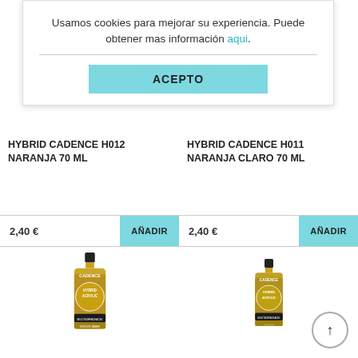Usamos cookies para mejorar su experiencia. Puede obtener mas información aqui.
ACEPTO
[Figure (photo): Orange acrylic paint bottle - Hybrid Cadence H012 Naranja 70ml]
HYBRID CADENCE H012 NARANJA 70 ML
2,40 €
AÑADIR
[Figure (photo): Orange acrylic paint bottle - Hybrid Cadence H011 Naranja Claro 70ml]
HYBRID CADENCE H011 NARANJA CLARO 70 ML
2,40 €
AÑADIR
[Figure (photo): Yellow acrylic paint bottle - Cadence Hybrid bottom left]
[Figure (photo): Yellow acrylic paint bottle - Cadence Hybrid bottom right]